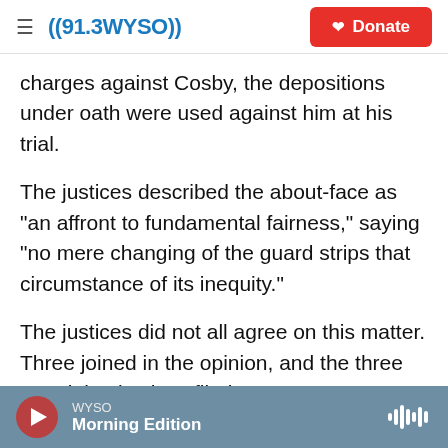((91.3WYSO)) Donate
charges against Cosby, the depositions under oath were used against him at his trial.
The justices described the about-face as "an affront to fundamental fairness," saying "no mere changing of the guard strips that circumstance of its inequity."
The justices did not all agree on this matter. Three joined in the opinion, and the three remaining justices filed two separate opinions.
For example, in his dissent, Justice Thomas Saylor
WYSO Morning Edition